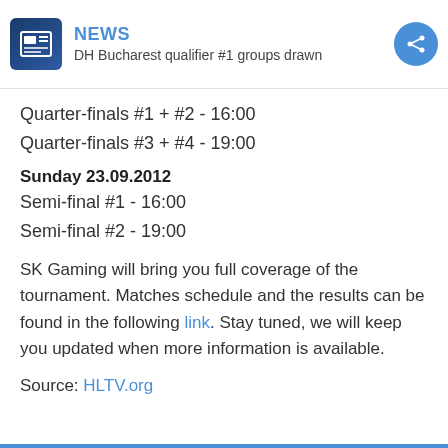NEWS
DH Bucharest qualifier #1 groups drawn
Quarter-finals #1 + #2 - 16:00
Quarter-finals #3 + #4 - 19:00
Sunday 23.09.2012
Semi-final #1 - 16:00
Semi-final #2 - 19:00
SK Gaming will bring you full coverage of the tournament. Matches schedule and the results can be found in the following link. Stay tuned, we will keep you updated when more information is available.
Source: HLTV.org